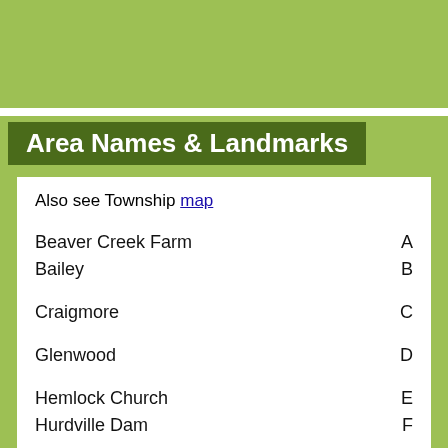Area Names  &  Landmarks
Also see Township map
Beaver Creek Farm   A
Bailey   B
Craigmore   C
Glenwood   D
Hemlock Church   E
Hurdville Dam   F
Jones Bay   G
Lacey's Narrows   H